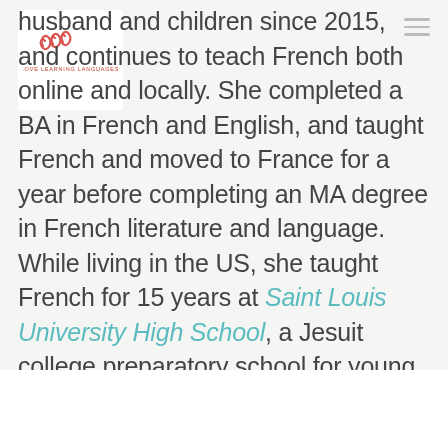[Figure (logo): Love Learning Languages logo — cursive red script with small text beneath]
...husband and children since 2015, and continues to teach French both online and locally. She completed a BA in French and English, and taught French and moved to France for a year before completing an MA degree in French literature and language. While living in the US, she taught French for 15 years at Saint Louis University High School, a Jesuit college preparatory school for young men.
...